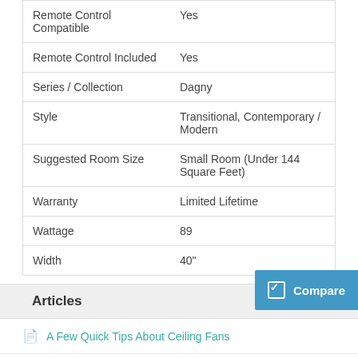| Attribute | Value |
| --- | --- |
| Remote Control Compatible | Yes |
| Remote Control Included | Yes |
| Series / Collection | Dagny |
| Style | Transitional, Contemporary / Modern |
| Suggested Room Size | Small Room (Under 144 Square Feet) |
| Warranty | Limited Lifetime |
| Wattage | 89 |
| Width | 40" |
Articles
A Few Quick Tips About Ceiling Fans
Choosing The Right Ceiling Fan
How to Choose the Best Lighting for Your Bedroom
Improve Your Productivity with the Best Lighting for Home Offices